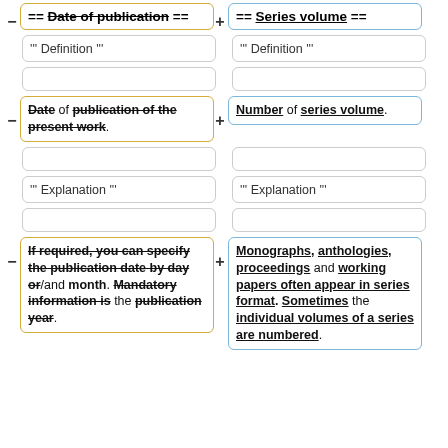== Date of publication == (strikethrough)
== Series volume ==
''' Definition '''
''' Definition '''
Date of publication of the present work. (strikethrough)
Number of series volume.
''' Explanation '''
''' Explanation '''
If required, you can specify the publication date by day or/and month. Mandatory information is the publication year. (strikethrough/mixed)
Monographs, anthologies, proceedings and working papers often appear in series format. Sometimes the individual volumes of a series are numbered.